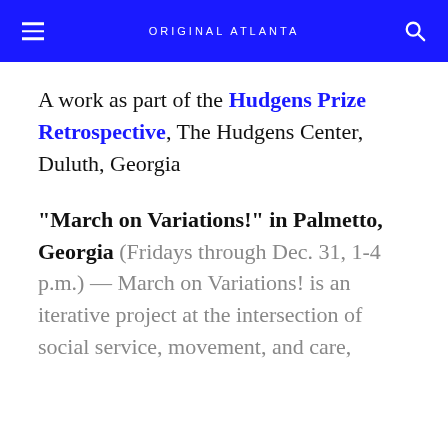ORIGINAL ATLANTA
A work as part of the Hudgens Prize Retrospective, The Hudgens Center, Duluth, Georgia
“March on Variations!” in Palmetto, Georgia (Fridays through Dec. 31, 1-4 p.m.) — March on Variations! is an iterative project at the intersection of social service, movement, and care,